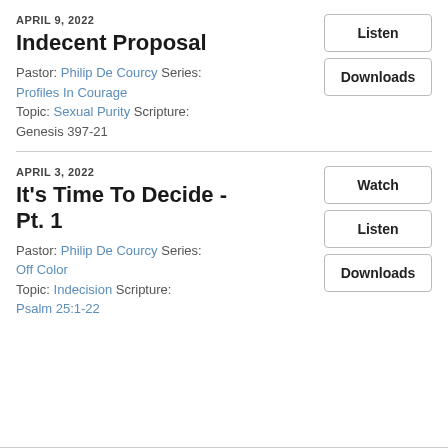APRIL 9, 2022
Indecent Proposal
Pastor: Philip De Courcy Series: Profiles In Courage
Topic: Sexual Purity Scripture: Genesis 397-21
Listen
Downloads
APRIL 3, 2022
It's Time To Decide - Pt. 1
Pastor: Philip De Courcy Series: Off Color
Topic: Indecision Scripture: Psalm 25:1-22
Watch
Listen
Downloads